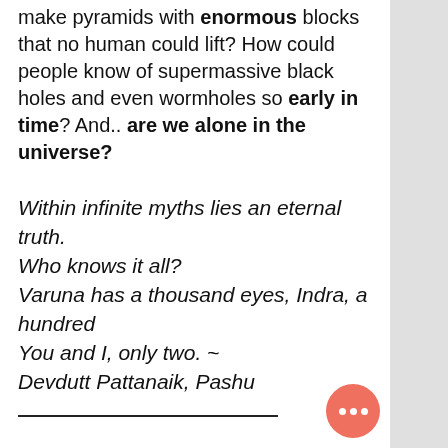make pyramids with enormous blocks that no human could lift? How could people know of supermassive black holes and even wormholes so early in time? And.. are we alone in the universe?
Within infinite myths lies an eternal truth.
Who knows it all?
Varuna has a thousand eyes, Indra, a hundred
You and I, only two. ~
Devdutt Pattanaik, Pashu